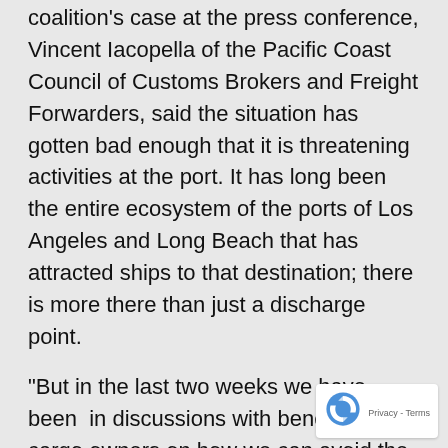coalition's case at the press conference, Vincent Iacopella of the Pacific Coast Council of Customs Brokers and Freight Forwarders, said the situation has gotten bad enough that it is threatening activities at the port. It has long been the entire ecosystem of the ports of Los Angeles and Long Beach that has attracted ships to that destination; there is more there than just a discharge point.
“But in the last two weeks we have been  in discussions with beneficial cargo owners on how we can avoid the ports of Long Beach and Los Angeles,” he said. “These are serious discussions.”
He cited a recent cargo that went “all water” to Norfolk in part to avoid the problems in Southern California. “They were so grateful,” he said.